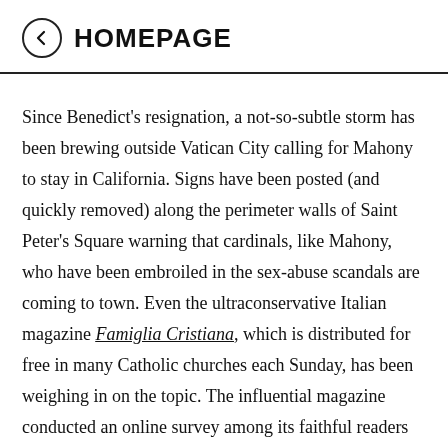← HOMEPAGE
Since Benedict's resignation, a not-so-subtle storm has been brewing outside Vatican City calling for Mahony to stay in California. Signs have been posted (and quickly removed) along the perimeter walls of Saint Peter's Square warning that cardinals, like Mahony, who have been embroiled in the sex-abuse scandals are coming to town. Even the ultraconservative Italian magazine Famiglia Cristiana, which is distributed for free in many Catholic churches each Sunday, has been weighing in on the topic. The influential magazine conducted an online survey among its faithful readers about whether Mahony should be allowed to participate in the election of the next pope (the overwhelming response was no). They then ran